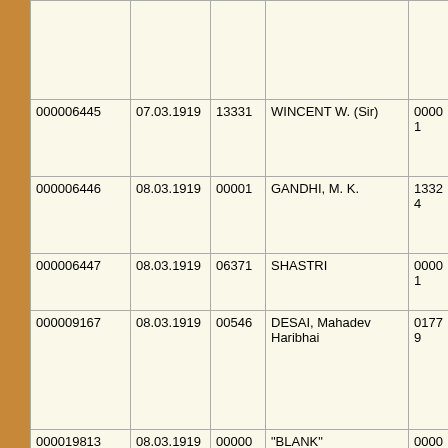|  |  |  |  |  |  |
| 000006445 | 07.03.1919 | 13331 | WINCENT W. (Sir) | 00001 | G |
| 000006446 | 08.03.1919 | 00001 | GANDHI, M. K. | 13324 | SH |
| 000006447 | 08.03.1919 | 06371 | SHASTRI | 00001 | G |
| 000009167 | 08.03.1919 | 00546 | DESAI, Mahadev Haribhai | 01779 | PA |
| 000019813 | 08.03.1919 | 00000 | "BLANK" | 00000 | "B |
| 000006448 | 09.03.1919 | 00000 | "BLANK" | 00000 | "B |
| 000006451 | 11.03.1919 | 00001 | GANDHI, M. K. | 00461 | SA |